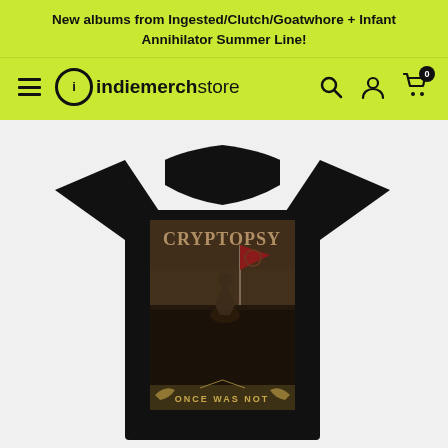New albums from Ingested/Clutch/Goatwhore + Infant Annihilator Summer Line!
[Figure (screenshot): Indie Merch Store navigation bar with hamburger menu, logo, search icon, account icon, and cart icon showing 0 items, on a lime green background]
[Figure (photo): Black Cryptopsy band t-shirt featuring the 'Once Was Not' album artwork with the Cryptopsy logo in gold/brown gothic lettering, showing a figure kneeling with a red flag in a dark battlefield scene, with 'ONCE WAS NOT' text at the bottom]